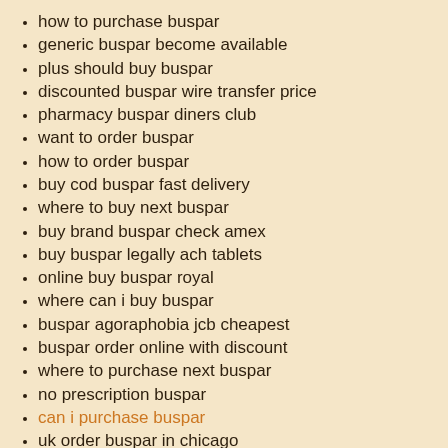how to purchase buspar
generic buspar become available
plus should buy buspar
discounted buspar wire transfer price
pharmacy buspar diners club
want to order buspar
how to order buspar
buy cod buspar fast delivery
where to buy next buspar
buy brand buspar check amex
buy buspar legally ach tablets
online buy buspar royal
where can i buy buspar
buspar agoraphobia jcb cheapest
buspar order online with discount
where to purchase next buspar
no prescription buspar
can i purchase buspar
uk order buspar in chicago
price buspar comprar dejar fumar
generic buspar 5mg price